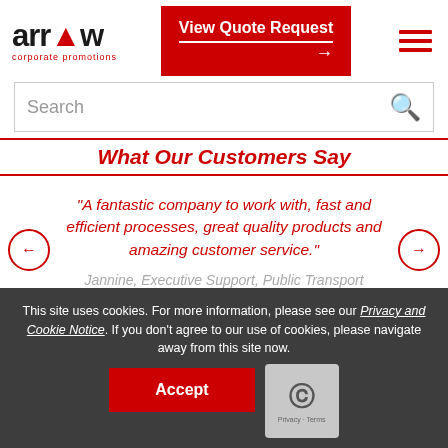[Figure (logo): Arrow Corporate Promotions logo — 'arrow' text in bold black with red arrow/flame icon replacing the 'o', 'corporate promotions' in red below]
[Figure (screenshot): Red button with white text 'View Quote Request' and right arrow]
[Figure (screenshot): Hamburger menu icon — three red horizontal lines]
[Figure (screenshot): Search bar with placeholder 'Search' and red magnifying glass icon]
What Our Customers Say
"A fantastic company to work with, fast and efficient processes, great quality products and amazing customer service."
Jannine, Executive Support, Public Transport company
This site uses cookies. For more information, please see our Privacy and Cookie Notice. If you don't agree to our use of cookies, please navigate away from this site now.
Accept